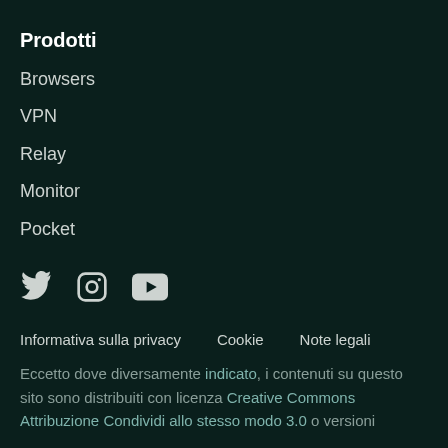Prodotti
Browsers
VPN
Relay
Monitor
Pocket
[Figure (infographic): Social media icons: Twitter (bird icon), Instagram (camera icon), YouTube (play button icon)]
Informativa sulla privacy   Cookie   Note legali
Eccetto dove diversamente indicato, i contenuti su questo sito sono distribuiti con licenza Creative Commons Attribuzione Condividi allo stesso modo 3.0 o versioni